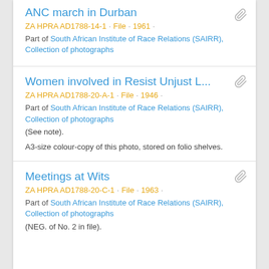ANC march in Durban
ZA HPRA AD1788-14-1 · File · 1961 ·
Part of South African Institute of Race Relations (SAIRR), Collection of photographs
Women involved in Resist Unjust L...
ZA HPRA AD1788-20-A-1 · File · 1946 ·
Part of South African Institute of Race Relations (SAIRR), Collection of photographs
(See note).
A3-size colour-copy of this photo, stored on folio shelves.
Meetings at Wits
ZA HPRA AD1788-20-C-1 · File · 1963 ·
Part of South African Institute of Race Relations (SAIRR), Collection of photographs
(NEG. of No. 2 in file).